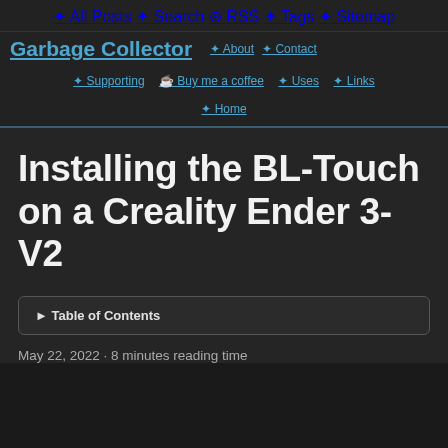✦ All Posts  ✦ Search  ⊛ RSS  ✦ Tags  ✦ Sitemap
Garbage Collector  ✦ About  ✦ Contact
✦ Supporting  ☕ Buy me a coffee  ✦ Uses  ✦ Links
✦ Home
Installing the BL-Touch on a Creality Ender 3-V2
▶ Table of Contents
May 22, 2022 · 8 minutes reading time